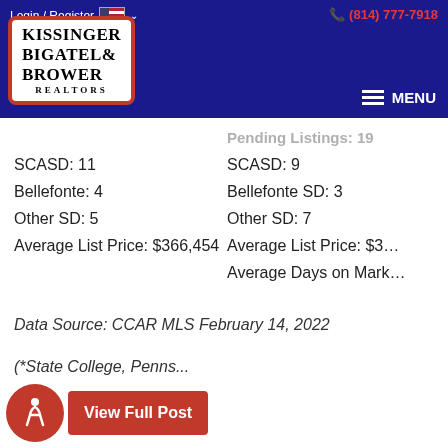Login / Register   (814) 777-7918
[Figure (logo): Kissinger Bigatel & Brower Realtors logo in a red-bordered white box on dark blue navigation bar]
SCASD: 11
Bellefonte: 4
Other SD: 5
Average List Price: $366,454
SCASD: 9
Bellefonte SD: 3
Other SD: 7
Average List Price: $3...
Average Days on Mark...
Data Source: CCAR MLS February 14, 2022
(*State College, Penns...
View Full Post